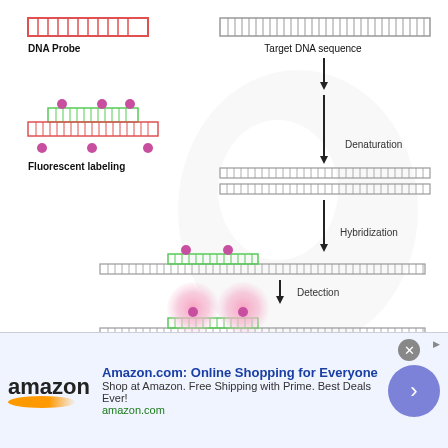[Figure (schematic): Illustration of FISH (fluorescence in situ hybridization) process: DNA Probe (red striped bar) with fluorescent labels (pink dots), Target DNA sequence (gray striped bar), denaturation step separating target into two strands, hybridization step showing labeled probe binding to target, detection step showing glowing pink fluorescent signals on hybridized probe-target complex. Steps connected by downward arrows labeled: Denaturation, Hybridization, Detection.]
Illustration of the denaturation, hybridization, and detection process of fluorescence in situ